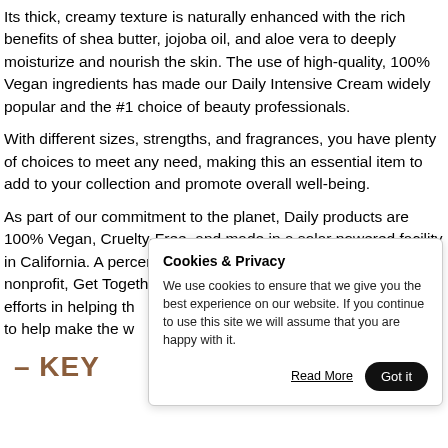Its thick, creamy texture is naturally enhanced with the rich benefits of shea butter, jojoba oil, and aloe vera to deeply moisturize and nourish the skin. The use of high-quality, 100% Vegan ingredients has made our Daily Intensive Cream widely popular and the #1 choice of beauty professionals.
With different sizes, strengths, and fragrances, you have plenty of choices to meet any need, making this an essential item to add to your collection and promote overall well-being.
As part of our commitment to the planet, Daily products are 100% Vegan, Cruelty-Free, and made in a solar powered facility in California. A percentage of every sale is donated to the nonprofit, Get Together Foundation, to help further their efforts in helping th... rt to help make the w...
— KEY
Cookies & Privacy
We use cookies to ensure that we give you the best experience on our website. If you continue to use this site we will assume that you are happy with it.
Read More   Got it